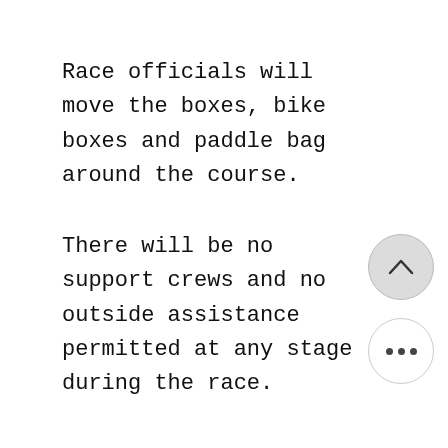Race officials will move the boxes, bike boxes and paddle bag around the course.
There will be no support crews and no outside assistance permitted at any stage during the race.
If you have friends and family who wants to cheer on your team they can apply to be one of our amazing